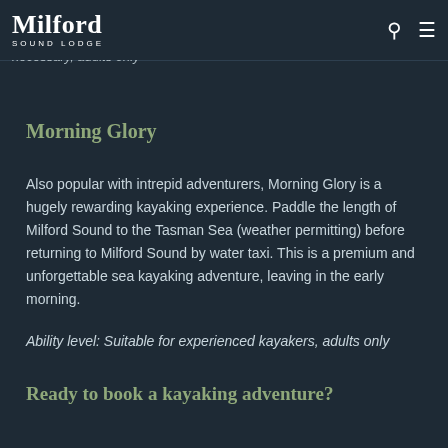Milford Sound Lodge
Ability level: (some previous kayaking experience necessary, adults only
Morning Glory
Also popular with intrepid adventurers, Morning Glory is a hugely rewarding kayaking experience. Paddle the length of Milford Sound to the Tasman Sea (weather permitting) before returning to Milford Sound by water taxi. This is a premium and unforgettable sea kayaking adventure, leaving in the early morning.
Ability level: Suitable for experienced kayakers, adults only
Ready to book a kayaking adventure?